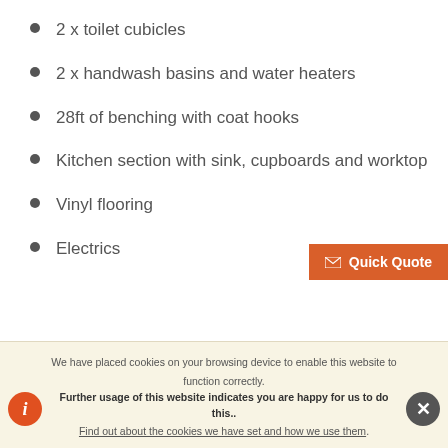2 x toilet cubicles
2 x handwash basins and water heaters
28ft of benching with coat hooks
Kitchen section with sink, cupboards and worktop
Vinyl flooring
Electrics
[Figure (photo): Two photos of portable/modular buildings and containers side by side]
We have placed cookies on your browsing device to enable this website to function correctly.
Further usage of this website indicates you are happy for us to do this..
Find out about the cookies we have set and how we use them.